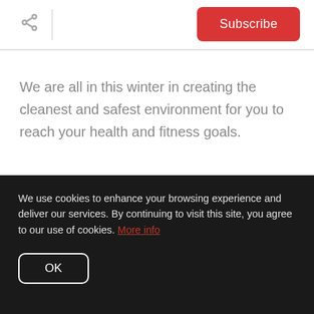Subscribe
We are all in this winter in creating the cleanest and safest environment for you to reach your health and fitness goals.
DSC is here for you now more than ever!
Ready to get started at N.H's #1
We use cookies to enhance your browsing experience and deliver our services. By continuing to visit this site, you agree to our use of cookies. More info
OK